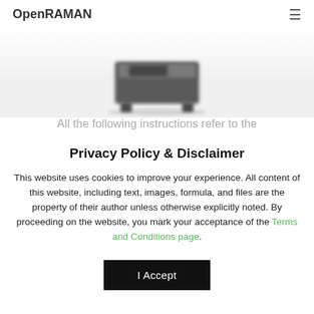OpenRAMAN
[Figure (photo): Partial view of a Raman spectrometer device, dark colored box-shaped instrument on a white/light background, cropped at top and bottom.]
All the following instructions refer to the
Privacy Policy & Disclaimer
This website uses cookies to improve your experience. All content of this website, including text, images, formula, and files are the property of their author unless otherwise explicitly noted. By proceeding on the website, you mark your acceptance of the Terms and Conditions page.